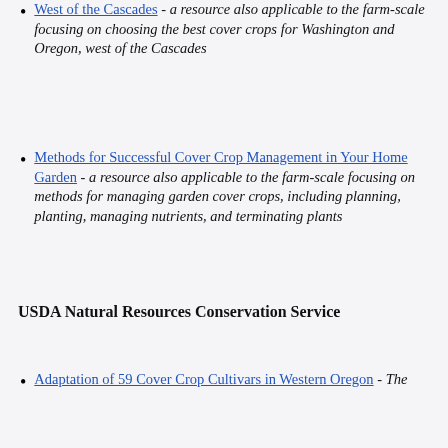West of the Cascades - a resource also applicable to the farm-scale focusing on choosing the best cover crops for Washington and Oregon, west of the Cascades
Methods for Successful Cover Crop Management in Your Home Garden - a resource also applicable to the farm-scale focusing on methods for managing garden cover crops, including planning, planting, managing nutrients, and terminating plants
USDA Natural Resources Conservation Service
Adaptation of 59 Cover Crop Cultivars in Western Oregon - The